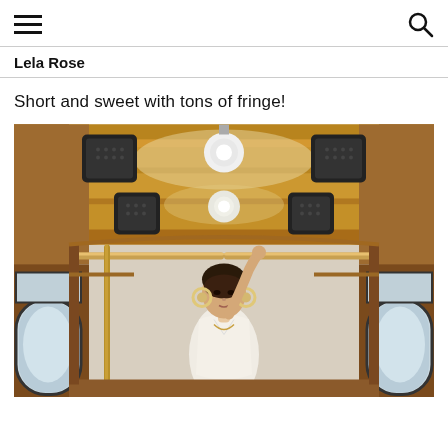Lela Rose — navigation with hamburger menu and search icon
Lela Rose
Short and sweet with tons of fringe!
[Figure (photo): A model wearing a white slip dress stands inside a vintage wooden trolley car, holding an overhead rail. The trolley interior features warm wood paneling, arched windows, overhead lights, and black speaker boxes mounted to the ceiling. The model has dark hair and large circular earrings, looking directly at the camera.]